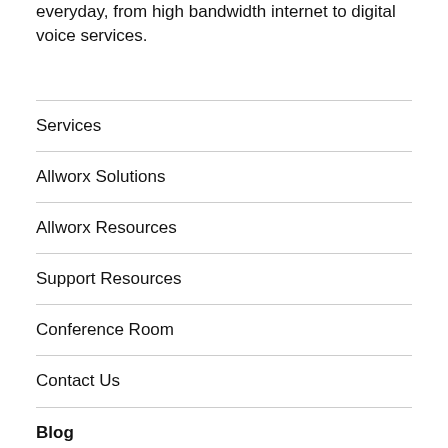everyday, from high bandwidth internet to digital voice services.
Services
Allworx Solutions
Allworx Resources
Support Resources
Conference Room
Contact Us
Blog